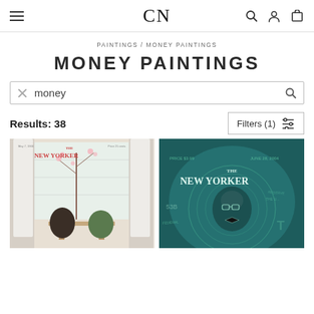CN — navigation header with hamburger menu, CN logo, search icon, user icon, cart icon
PAINTINGS / MONEY PAINTINGS
MONEY PAINTINGS
money (search field with clear and search icons)
Results: 38
Filters (1)
[Figure (photo): New Yorker magazine cover illustration showing two elegantly dressed figures at a table near a window with white curtains and a flowering branch, vintage style]
[Figure (photo): New Yorker magazine cover from June 28 2004 showing a man's face superimposed on a US dollar bill with teal/green tones]